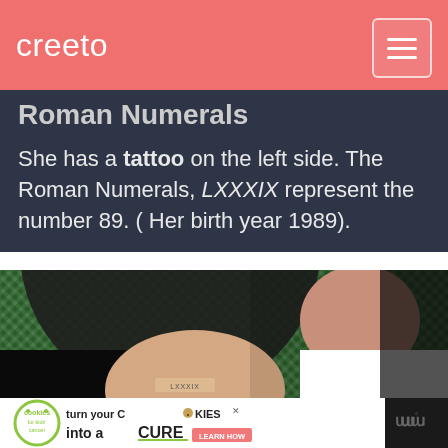creeto
Roman Numerals
She has a tattoo on the left side. The Roman Numerals, LXXXIX represent the number 89. ( Her birth year 1989).
[Figure (photo): Photo of a woman in a white dress at an event with a green hedge background and a circular dark architectural element. A smaller inset shows a tattoo reading 'LXXXIX' on skin.]
[Figure (infographic): Advertisement banner for 'cookies for kids cancer' saying 'turn your COOKIES into a CURE LEARN HOW']